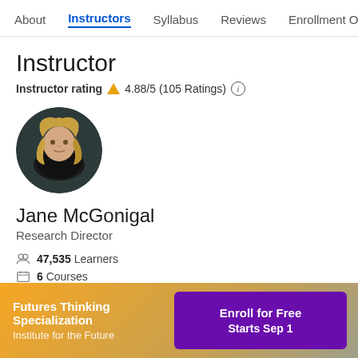About | Instructors | Syllabus | Reviews | Enrollment Opt
Instructor
Instructor rating 4.88/5 (105 Ratings)
[Figure (photo): Circular profile photo of Jane McGonigal, a woman with long blonde hair wearing a dark outfit against a dark background]
Jane McGonigal
Research Director
47,535 Learners
6 Courses
Futures Thinking Specialization
Institute for the Future
Enroll for Free
Starts Sep 1